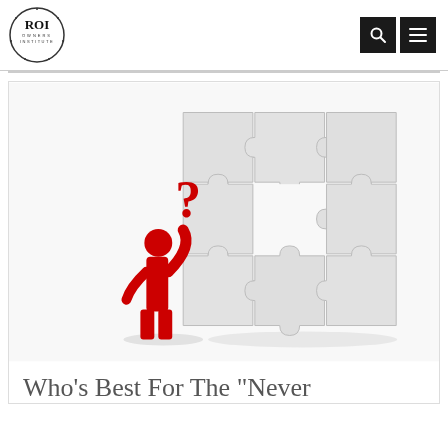ROI Owners Institute
[Figure (illustration): A red stick figure person scratching their head with a question mark above, standing next to a light grey puzzle board with one missing center piece]
Who's Best For The "Never